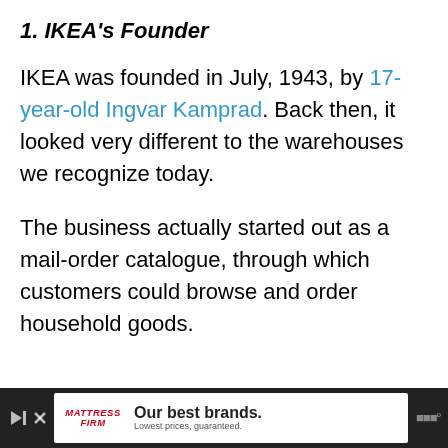1. IKEA's Founder
IKEA was founded in July, 1943, by 17-year-old Ingvar Kamprad. Back then, it looked very different to the warehouses we recognize today.
The business actually started out as a mail-order catalogue, through which customers could browse and order household goods.
[Figure (other): Advertisement banner at bottom: Mattress Firm ad with text 'Our best brands. Lowest prices, guaranteed.']